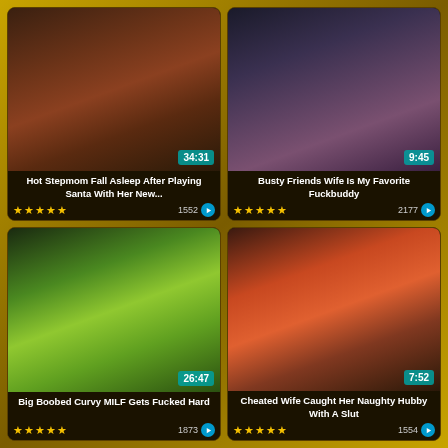[Figure (screenshot): Video thumbnail grid showing adult video website with 4 video cards]
Hot Stepmom Fall Asleep After Playing Santa With Her New...
★★★★★ 1552
34:31
Busty Friends Wife Is My Favorite Fuckbuddy
★★★★★ 2177
9:45
Big Boobed Curvy MILF Gets Fucked Hard
★★★★★ 1873
26:47
Cheated Wife Caught Her Naughty Hubby With A Slut
★★★★★ 1554
7:52